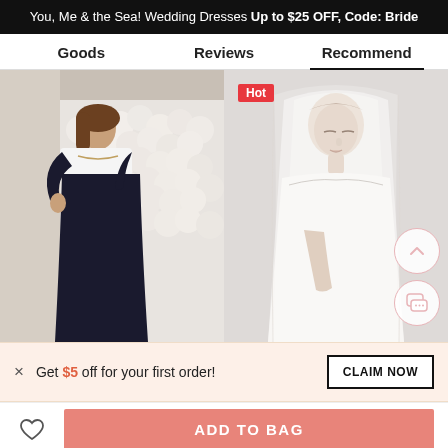You, Me & the Sea! Wedding Dresses Up to $25 OFF, Code: Bride
Goods  Reviews  Recommend
[Figure (photo): Left: A woman in a black off-shoulder long-sleeve gown posing in front of a white rose wall. Right: A bride in a white wedding dress and veil, seated, with a 'Hot' badge in the top-left corner.]
× Get $5 off for your first order!
CLAIM NOW
ADD TO BAG